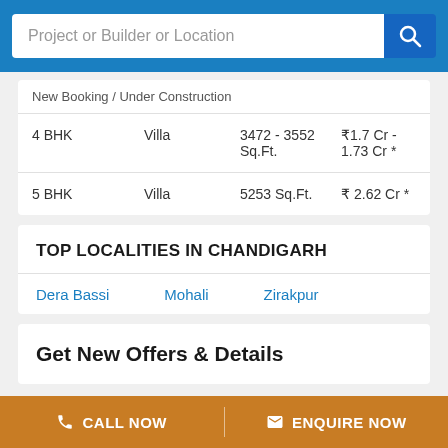Project or Builder or Location
|  |  |  |  |
| --- | --- | --- | --- |
| New Booking / Under Construction |  |  |  |
| 4 BHK | Villa | 3472 - 3552 Sq.Ft. | ₹1.7 Cr - 1.73 Cr * |
| 5 BHK | Villa | 5253 Sq.Ft. | ₹ 2.62 Cr * |
TOP LOCALITIES IN CHANDIGARH
Dera Bassi
Mohali
Zirakpur
Get New Offers & Details
CALL NOW  |  ENQUIRE NOW